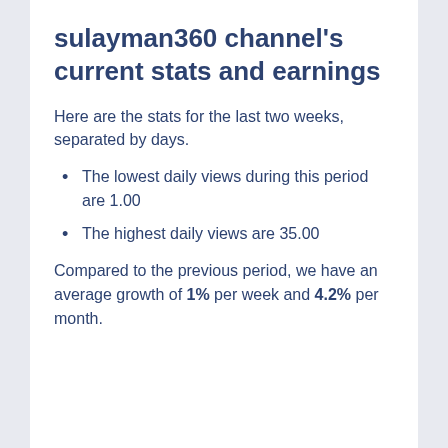sulayman360 channel's current stats and earnings
Here are the stats for the last two weeks, separated by days.
The lowest daily views during this period are 1.00
The highest daily views are 35.00
Compared to the previous period, we have an average growth of 1% per week and 4.2% per month.